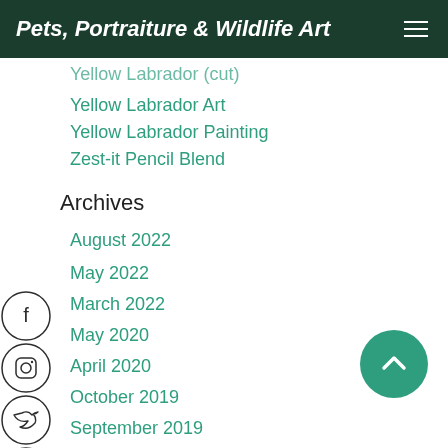Pets, Portraiture & Wildlife Art
Yellow Labrador Art
Yellow Labrador Painting
Zest-it Pencil Blend
Archives
August 2022
May 2022
March 2022
May 2020
April 2020
October 2019
September 2019
December 2018